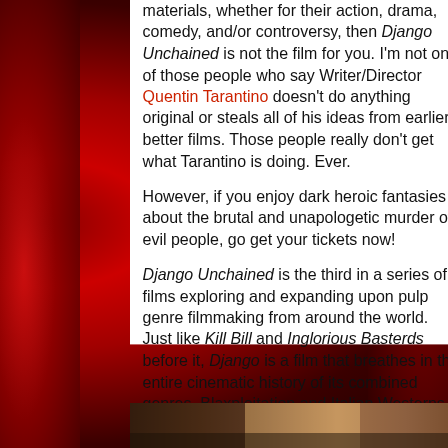materials, whether for their action, drama, comedy, and/or controversy, then Django Unchained is not the film for you. I'm not one of those people who say Writer/Director Quentin Tarantino doesn't do anything original or steals all of his ideas from earlier better films. Those people really don't get what Tarantino is doing. Ever.
However, if you enjoy dark heroic fantasies about the brutal and unapologetic murder of evil people, go get your tickets now!
Django Unchained is the third in a series of films exploring and expanding upon pulp genre filmmaking from around the world. Just like Kill Bill and Inglorious Basterds before it, Django is a film that breathes in the entire cinematic history of its combined genres, Blaxploitation and Italian Westerns, crafting a Revenge Film so beautiful that it elevates its pulp origins to art while still providing a satisfying escapist experience.
[Figure (photo): Bottom strip of a film scene photograph, partially visible at the bottom of the page]